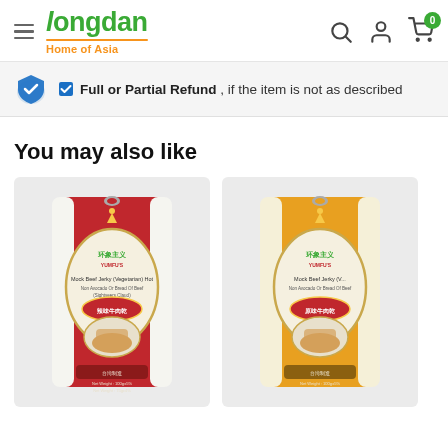Longdan — Home of Asia
Full or Partial Refund , if the item is not as described
You may also like
[Figure (photo): Red package of Mock Beef Jerky (Vegetarian) Hot product by Yumfu's brand with Chinese characters, shown on a light grey product card]
[Figure (photo): Yellow package of Mock Beef Jerky (Vegetarian) product by Yumfu's brand with Chinese characters, partially visible, shown on a light grey product card]